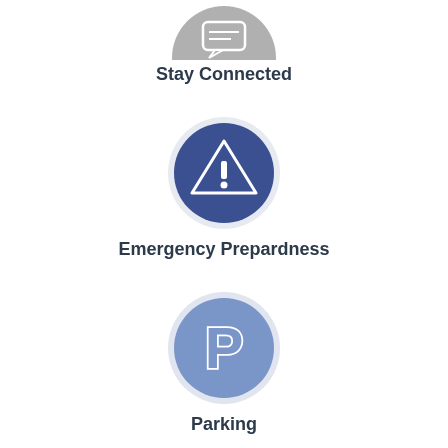[Figure (illustration): Gray circle icon with a chat/message bubble symbol, partially cropped at top]
Stay Connected
[Figure (illustration): Dark blue circle icon with a white warning/alert triangle containing an exclamation mark]
Emergency Prepardness
[Figure (illustration): Medium blue circle icon with a white letter P (parking symbol)]
Parking